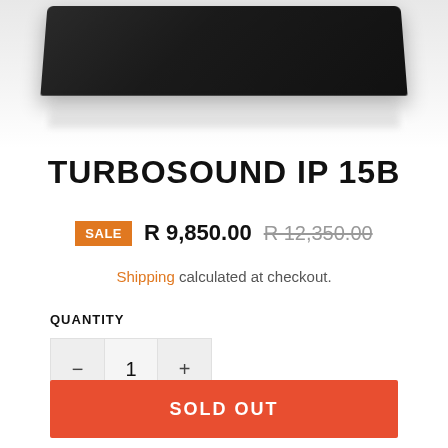[Figure (photo): Bottom portion of a black rectangular speaker/subwoofer device with reflection below it on a white/grey gradient background]
TURBOSOUND IP 15B
SALE  R 9,850.00  R 12,350.00
Shipping calculated at checkout.
QUANTITY
1
SOLD OUT